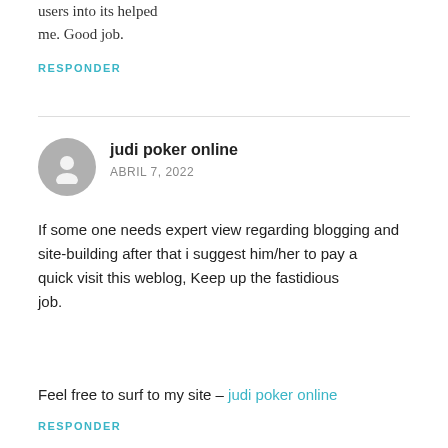users into its helped me. Good job.
RESPONDER
judi poker online
ABRIL 7, 2022
If some one needs expert view regarding blogging and site-building after that i suggest him/her to pay a quick visit this weblog, Keep up the fastidious job.
Feel free to surf to my site – judi poker online
RESPONDER